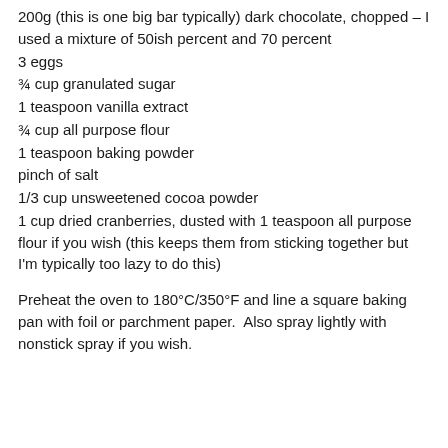200g (this is one big bar typically) dark chocolate, chopped – I used a mixture of 50ish percent and 70 percent
3 eggs
¾ cup granulated sugar
1 teaspoon vanilla extract
¾ cup all purpose flour
1 teaspoon baking powder
pinch of salt
1/3 cup unsweetened cocoa powder
1 cup dried cranberries, dusted with 1 teaspoon all purpose flour if you wish (this keeps them from sticking together but I'm typically too lazy to do this)
Preheat the oven to 180°C/350°F and line a square baking pan with foil or parchment paper.  Also spray lightly with nonstick spray if you wish.